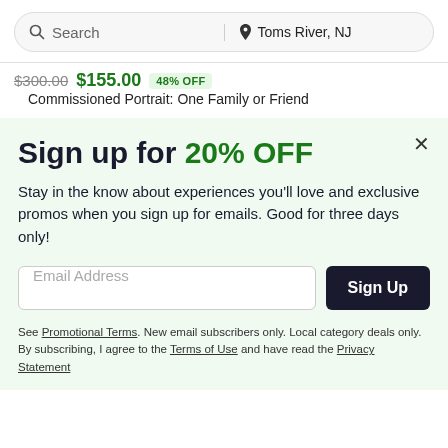Search | Toms River, NJ
$300.00 $155.00 48% OFF
Commissioned Portrait: One Family or Friend
Sign up for 20% OFF
Stay in the know about experiences you'll love and exclusive promos when you sign up for emails. Good for three days only!
Email Address
Sign Up
See Promotional Terms. New email subscribers only. Local category deals only. By subscribing, I agree to the Terms of Use and have read the Privacy Statement